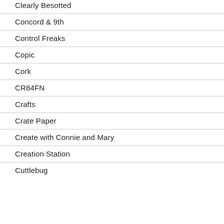Clearly Besotted
Concord & 9th
Control Freaks
Copic
Cork
CR84FN
Crafts
Crate Paper
Create with Connie and Mary
Creation Station
Cuttlebug